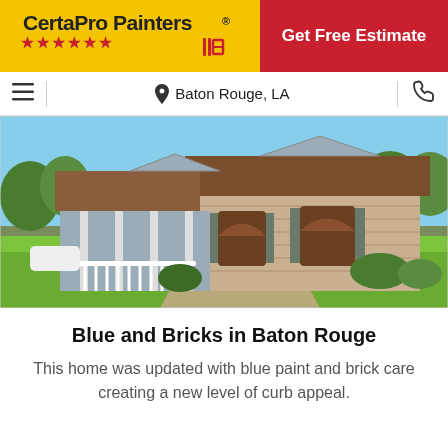[Figure (logo): CertaPro Painters logo on yellow background with red stars and brush icon]
Get Free Estimate
Baton Rouge, LA
[Figure (photo): Ranch-style brick house with brown roof, white porch railing, arched windows, green lawn and trees]
Blue and Bricks in Baton Rouge
This home was updated with blue paint and brick care creating a new level of curb appeal.